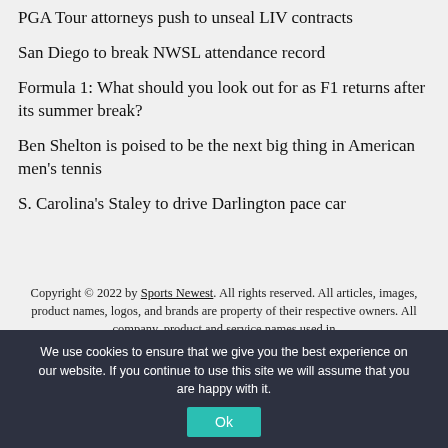PGA Tour attorneys push to unseal LIV contracts
San Diego to break NWSL attendance record
Formula 1: What should you look out for as F1 returns after its summer break?
Ben Shelton is poised to be the next big thing in American men's tennis
S. Carolina's Staley to drive Darlington pace car
Copyright © 2022 by Sports Newest. All rights reserved. All articles, images, product names, logos, and brands are property of their respective owners. All company, product and service names used in
We use cookies to ensure that we give you the best experience on our website. If you continue to use this site we will assume that you are happy with it.